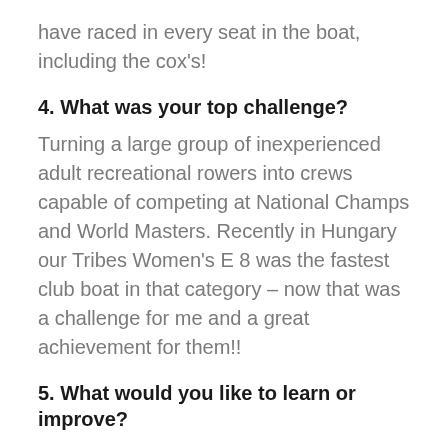have raced in every seat in the boat, including the cox's!
4. What was your top challenge?
Turning a large group of inexperienced adult recreational rowers into crews capable of competing at National Champs and World Masters. Recently in Hungary our Tribes Women's E 8 was the fastest club boat in that category – now that was a challenge for me and a great achievement for them!!
5. What would you like to learn or improve?
I would like to properly understand the law